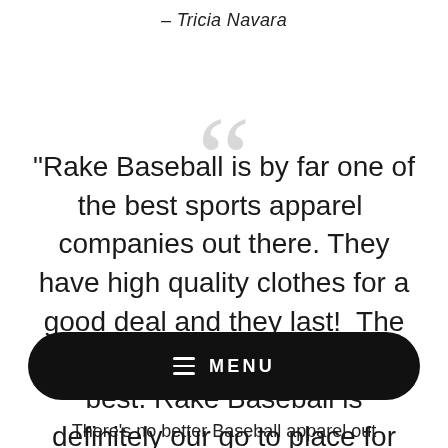– Tricia Navara
"Rake Baseball is by far one of the best sports apparel companies out there. They have high quality clothes for a good deal and they last! The details on each item are the best. Rake Baseball is definitely our go to place for clothes. Not only do my boys love their clothes but it is my
MENU
There's no better Baseball apparel out